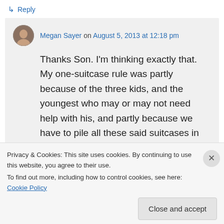↳ Reply
Megan Sayer on August 5, 2013 at 12:18 pm
Thanks Son. I'm thinking exactly that. My one-suitcase rule was partly because of the three kids, and the youngest who may or may not need help with his, and partly because we have to pile all these said suitcases in the back of a rental car from time to time. But the conclusion I have
Privacy & Cookies: This site uses cookies. By continuing to use this website, you agree to their use.
To find out more, including how to control cookies, see here: Cookie Policy
Close and accept